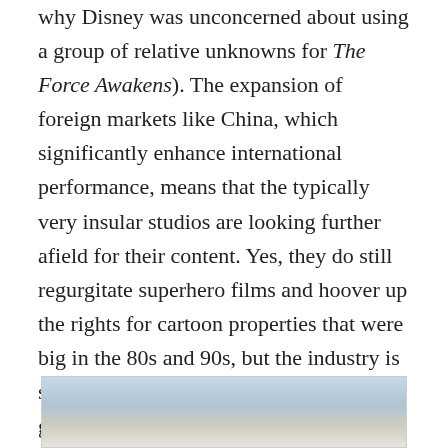why Disney was unconcerned about using a group of relative unknowns for The Force Awakens). The expansion of foreign markets like China, which significantly enhance international performance, means that the typically very insular studios are looking further afield for their content. Yes, they do still regurgitate superhero films and hoover up the rights for cartoon properties that were big in the 80s and 90s, but the industry is steadily diversifying its plundering grounds.
[Figure (photo): Partial image visible at the bottom of the page, appears to show figures or characters, cropped.]